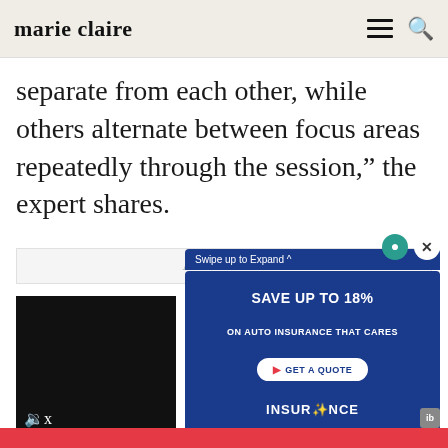marie claire
separate from each other, while others alternate between focus areas repeatedly through the session,” the expert shares.
[Figure (other): Advertisement placeholder box with the text 'Advertisement']
[Figure (screenshot): Video ad overlay at the bottom of the page. Left side shows a dark video panel with a mute icon. Right side shows a blue insurance advertisement card with 'Swipe up to Expand ^', 'SAVE UP TO 18% ON AUTO INSURANCE THAT CARES', 'GET A QUOTE' button, and 'INSUR[logo]NCE' branding. Close button (X) and info button visible.]